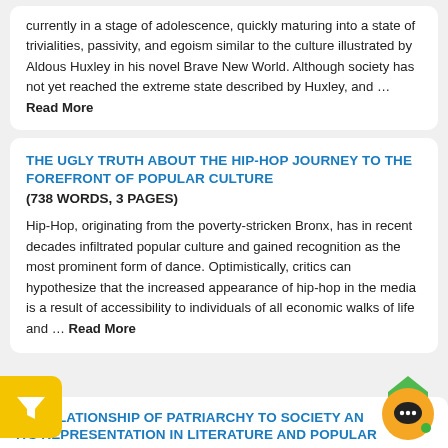currently in a stage of adolescence, quickly maturing into a state of trivialities, passivity, and egoism similar to the culture illustrated by Aldous Huxley in his novel Brave New World. Although society has not yet reached the extreme state described by Huxley, and … Read More
THE UGLY TRUTH ABOUT THE HIP-HOP JOURNEY TO THE FOREFRONT OF POPULAR CULTURE (738 WORDS, 3 PAGES)
Hip-Hop, originating from the poverty-stricken Bronx, has in recent decades infiltrated popular culture and gained recognition as the most prominent form of dance. Optimistically, critics can hypothesize that the increased appearance of hip-hop in the media is a result of accessibility to individuals of all economic walks of life and … Read More
THE RELATIONSHIP OF PATRIARCHY TO SOCIETY AND ITS REPRESENTATION IN LITERATURE AND POPULAR